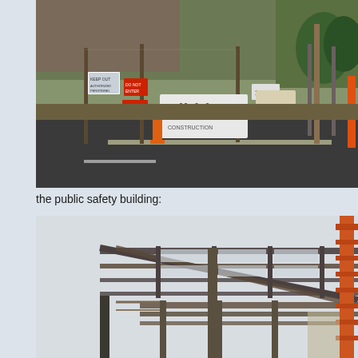[Figure (photo): Construction site street view with chain-link fence, signs including a 'nibbi' contractor sign, utility poles, and a road. Various warning and informational signs are attached to the fence.]
the public safety building:
[Figure (photo): Construction photo showing steel structural framework of a building under construction, with crane visible on the right side and pale sky background.]